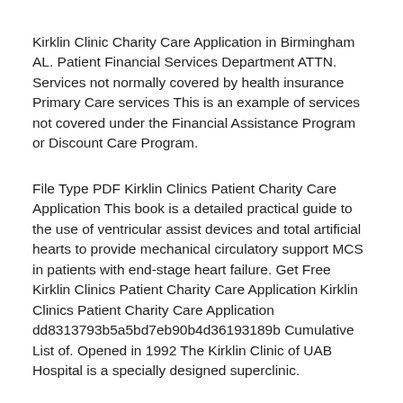Kirklin Clinic Charity Care Application in Birmingham AL. Patient Financial Services Department ATTN. Services not normally covered by health insurance Primary Care services This is an example of services not covered under the Financial Assistance Program or Discount Care Program.
File Type PDF Kirklin Clinics Patient Charity Care Application This book is a detailed practical guide to the use of ventricular assist devices and total artificial hearts to provide mechanical circulatory support MCS in patients with end-stage heart failure. Get Free Kirklin Clinics Patient Charity Care Application Kirklin Clinics Patient Charity Care Application dd8313793b5a5bd7eb90b4d36193189b Cumulative List of. Opened in 1992 The Kirklin Clinic of UAB Hospital is a specially designed superclinic.
Kindle File Format Kirklin Clinics Patient Charity Care